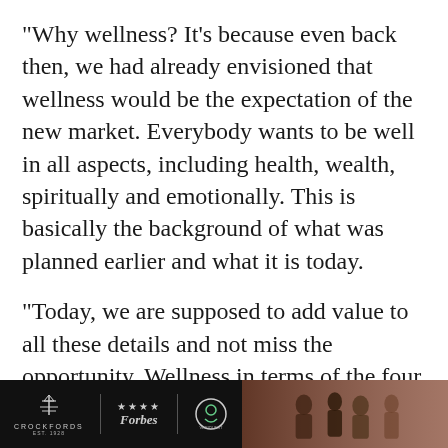"Why wellness? It's because even back then, we had already envisioned that wellness would be the expectation of the new market. Everybody wants to be well in all aspects, including health, wealth, spiritually and emotionally. This is basically the background of what was planned earlier and what it is today.
"Today, we are supposed to add value to all these details and not miss the opportunity. Wellness in terms of the four aspects is what one would get when buying a property in the City of Elmina
[Figure (logo): Footer bar with dark background containing Crockfords logo, Forbes logo with stars, a circular logo (Veriquest), and a photo of people on the right side]